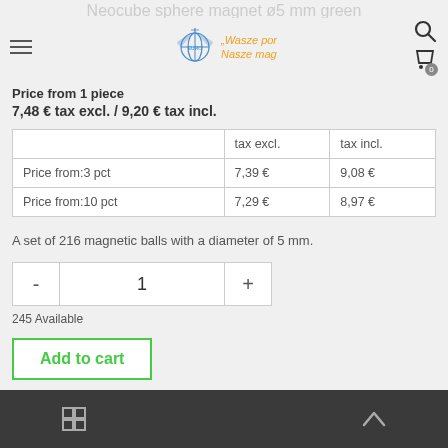Neocube sphere magnet ø5 mm green
[Figure (logo): Euro magnesy logo with globe graphic and text 'Wasze pomysły, Nasze magnesy']
Price from 1 piece
7,48 € tax excl. / 9,20 € tax incl.
|  | tax excl. | tax incl. |
| --- | --- | --- |
| Price from:3 pct | 7,39 € | 9,08 € |
| Price from:10 pct | 7,29 € | 8,97 € |
A set of 216 magnetic balls with a diameter of 5 mm.
245 Available
Add to cart
Bottom navigation bar with grid view and scroll-to-top icons